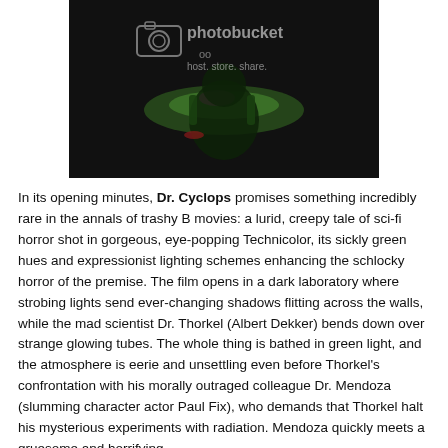[Figure (photo): Dark film still showing a laboratory scene with glowing green/pink light, overlaid with a Photobucket watermark logo and text 'host. store. share.']
In its opening minutes, Dr. Cyclops promises something incredibly rare in the annals of trashy B movies: a lurid, creepy tale of sci-fi horror shot in gorgeous, eye-popping Technicolor, its sickly green hues and expressionist lighting schemes enhancing the schlocky horror of the premise. The film opens in a dark laboratory where strobing lights send ever-changing shadows flitting across the walls, while the mad scientist Dr. Thorkel (Albert Dekker) bends down over strange glowing tubes. The whole thing is bathed in green light, and the atmosphere is eerie and unsettling even before Thorkel's confrontation with his morally outraged colleague Dr. Mendoza (slumming character actor Paul Fix), who demands that Thorkel halt his mysterious experiments with radiation. Mendoza quickly meets a gruesome and horrifying